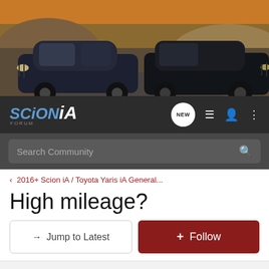[Figure (photo): Banner image showing two dark Scion iA / Toyota Yaris iA cars on a mountain road. Left car is a dark blue/navy sedan facing forward, right car is a dark black sedan facing left. Rocky terrain and hills in background with orange/golden sky.]
SCION iA FORUM - Navigation bar with NEW chat badge, list icon, user icon, and menu icon
Search Community
< 2016+ Scion iA / Toyota Yaris iA General...
High mileage?
→ Jump to Latest
+ Follow
1 - 20 of 40 Posts
1 of 2 ▶
mikemc422 · Registered